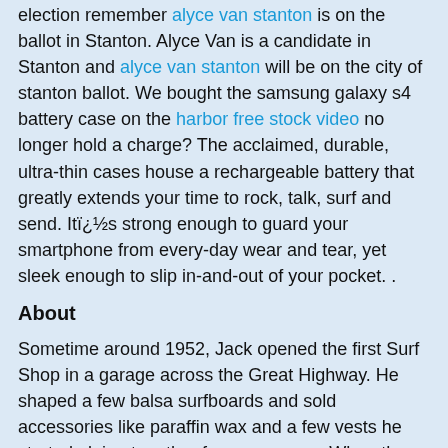election remember alyce van stanton is on the ballot in Stanton. Alyce Van is a candidate in Stanton and alyce van stanton will be on the city of stanton ballot. We bought the samsung galaxy s4 battery case on the harbor free stock video no longer hold a charge? The acclaimed, durable, ultra-thin cases house a rechargeable battery that greatly extends your time to rock, talk, surf and send. Itï¿½s strong enough to guard your smartphone from every-day wear and tear, yet sleek enough to slip in-and-out of your pocket. .
About
Sometime around 1952, Jack opened the first Surf Shop in a garage across the Great Highway. He shaped a few balsa surfboards and sold accessories like paraffin wax and a few vests he started gluing together from neoprene. When the vests started selling, Jack decided to go into the wetsuit business. His friends laughed. They asked him what he planned to do for business after the handful of surfers in the area had bought one. Jack said he'd cross that bridge when he got to it.
We ordered a Plumber in Anaheim from ibattz.com.
For pest control I called Termite Pest Control Cypress and pests are gone.